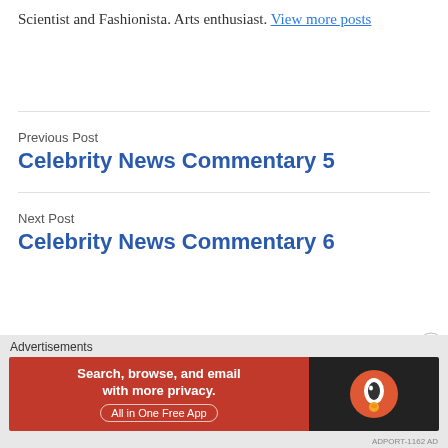Scientist and Fashionista. Arts enthusiast. View more posts
Previous Post
Celebrity News Commentary 5
Next Post
Celebrity News Commentary 6
Advertisements
[Figure (other): DuckDuckGo advertisement banner: 'Search, browse, and email with more privacy. All in One Free App' with DuckDuckGo duck logo on dark background]